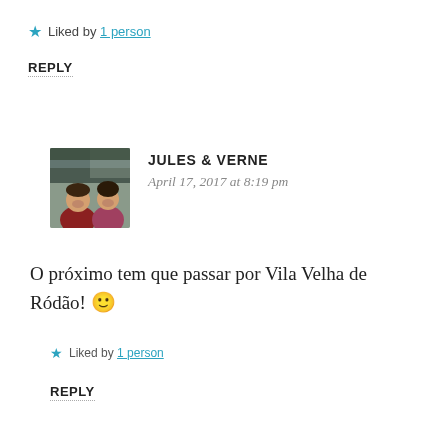★ Liked by 1 person
REPLY
[Figure (photo): Profile photo of Jules & Verne commenter — two people in a vehicle selfie]
JULES & VERNE
April 17, 2017 at 8:19 pm
O próximo tem que passar por Vila Velha de Ródão! 🙂
★ Liked by 1 person
REPLY